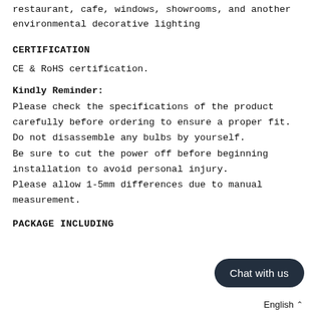restaurant, cafe, windows, showrooms, and another environmental decorative lighting
CERTIFICATION
CE & RoHS certification.
Kindly Reminder: Please check the specifications of the product carefully before ordering to ensure a proper fit. Do not disassemble any bulbs by yourself. Be sure to cut the power off before beginning installation to avoid personal injury. Please allow 1-5mm differences due to manual measurement.
PACKAGE INCLUDING